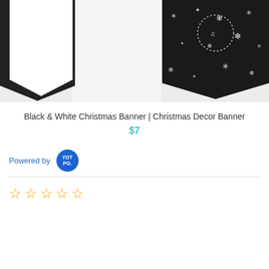[Figure (photo): Black and white Christmas banner pennants – one white pennant on the left, one dark/black pennant with snowflake decorations on the right, with a white space in the middle.]
Black & White Christmas Banner | Christmas Decor Banner
$7
Powered by YOTPO.
[Figure (other): Five empty star rating icons in orange/gold outline indicating 0 out of 5 stars.]